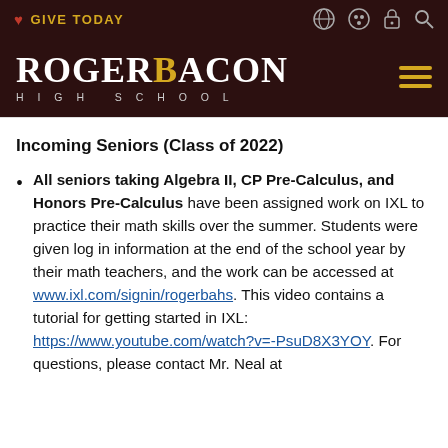GIVE TODAY
[Figure (logo): Roger Bacon High School logo — white serif text on dark maroon background, with 'B' in gold]
Incoming Seniors (Class of 2022)
All seniors taking Algebra II, CP Pre-Calculus, and Honors Pre-Calculus have been assigned work on IXL to practice their math skills over the summer. Students were given log in information at the end of the school year by their math teachers, and the work can be accessed at www.ixl.com/signin/rogerbahs. This video contains a tutorial for getting started in IXL: https://www.youtube.com/watch?v=-PsuD8X3YOY. For questions, please contact Mr. Neal at